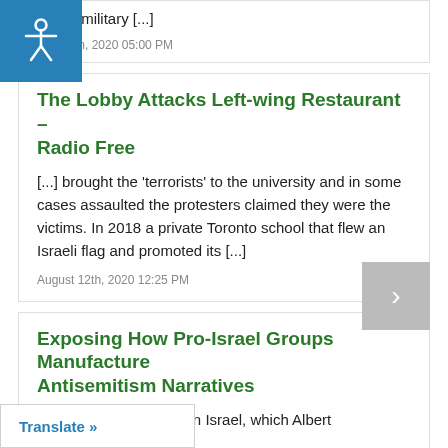Israeli military [...]
July 11th, 2020 05:00 PM
The Lobby Attacks Left-wing Restaurant – Radio Free
[...] brought the 'terrorists' to the university and in some cases assaulted the protesters claimed they were the victims. In 2018 a private Toronto school that flew an Israeli flag and promoted its [...]
August 12th, 2020 12:25 PM
Exposing How Pro-Israel Groups Manufacture Antisemitism Narratives
[...] former Herut Party in Israel, which Albert